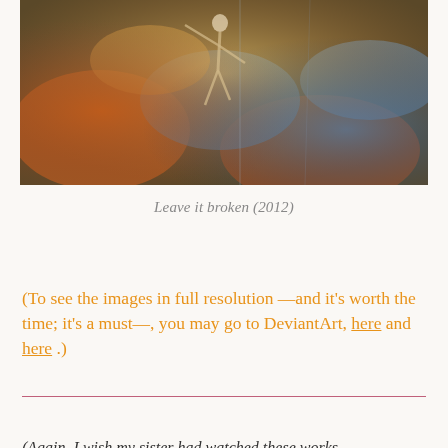[Figure (photo): Abstract blurred photograph showing a figure, possibly a dancer, with warm orange, blue, and gold tones reflected on what appears to be a wet floor or mirror surface.]
Leave it broken (2012)
(To see the images in full resolution —and it's worth the time; it's a must—, you may go to DeviantArt, here and here .)
(Again, I wish my sister had watched these works